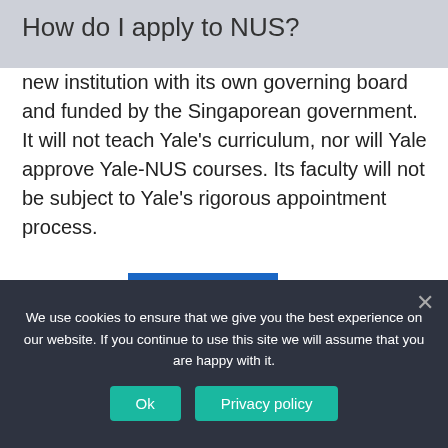How do I apply to NUS?
new institution with its own governing board and funded by the Singaporean government. It will not teach Yale's curriculum, nor will Yale approve Yale-NUS courses. Its faculty will not be subject to Yale's rigorous appointment process.
[Figure (infographic): Social media sharing icons row: Facebook, Twitter, Email, Reddit, WhatsApp, Messenger, Telegram, Share/Plus]
We use cookies to ensure that we give you the best experience on our website. If you continue to use this site we will assume that you are happy with it.